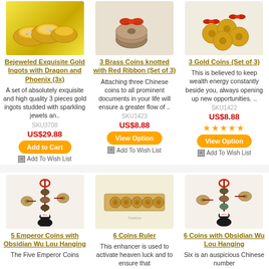[Figure (photo): Bejeweled gold ingots product photo]
Bejeweled Exquisite Gold Ingots with Dragon and Phoenix (3x)
A set of absolutely exquisite and high quality 3 pieces gold ingots studded with sparkling jewels an..
SKU3708
US$29.88
Add to Cart
Add To Wish List
[Figure (photo): 3 brass coins knotted with red ribbon product photo]
3 Brass Coins knotted with Red Ribbon (Set of 3)
Attaching three Chinese coins to all prominent documents in your life will ensure a greater flow of ..
SKU1423
US$8.88
View Option
Add To Wish List
[Figure (photo): 3 gold coins set of 3 product photo]
3 Gold Coins (Set of 3)
This is believed to keep wealth energy constantly beside you, always opening up new opportunities. ..
SKU1422
US$8.88
View Option
Add To Wish List
[Figure (photo): 5 Emperor Coins with Obsidian Wu Lou Hanging product photo]
5 Emperor Coins with Obsidian Wu Lou Hanging
The Five Emperor Coins
[Figure (photo): 6 Coins Ruler product photo]
6 Coins Ruler
This enhancer is used to activate heaven luck and to ensure that
[Figure (photo): 6 Coins with Obsidian Wu Lou Hanging product photo]
6 Coins with Obsidian Wu Lou Hanging
Six is an auspicious Chinese number